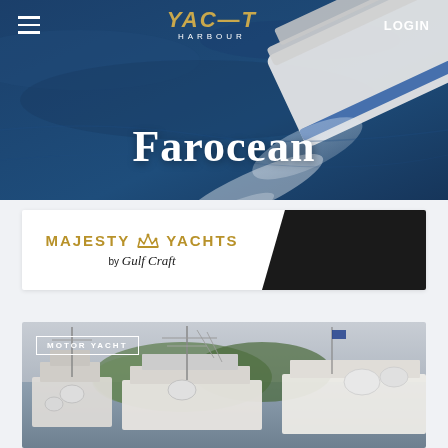Yacht Harbour — LOGIN
Farocean
[Figure (logo): MAJESTY YACHTS by Gulf Craft advertisement banner, white left section with gold logo and black diagonal right section]
[Figure (photo): Aerial photo of marina/harbour with motor yachts docked, showing radar equipment, masts, trees in background, MOTOR YACHT label overlay]